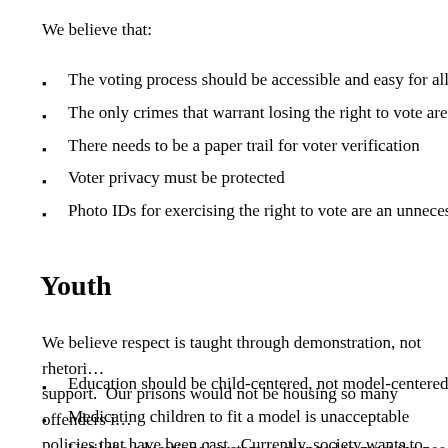We believe that:
The voting process should be accessible and easy for all voters
The only crimes that warrant losing the right to vote are voter fraud related crimes
There needs to be a paper trail for voter verification
Voter privacy must be protected
Photo IDs for exercising the right to vote are an unnecessary burden
Youth
We believe respect is taught through demonstration, not rhetoric, and children need support. Our prisons would not be housing so many offenders if not for the failed policies that have been cast. Currently, society wants to hold youth accountable for failures. To address these failures, we will lobby the following policies:
Education should be child-centered, not model-centered
Medicating children to fit a model is unacceptable
Until the educational system is changed to meet the needs of children…